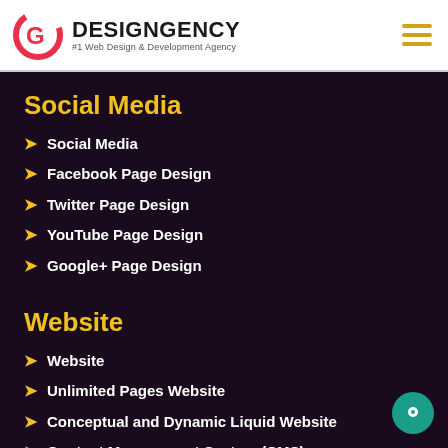DESIGNGENCY #1 Web Design & Development Agency
Social Media
Social Media
Facebook Page Design
Twitter Page Design
YouTube Page Design
Google+ Page Design
Website
Website
Unlimited Pages Website
Conceptual and Dynamic Liquid Website
Content Management System (CMS)
Team of Expert Designers & Developers
Mobile Responsive (compatible with IOS, Android, Tablet etc)